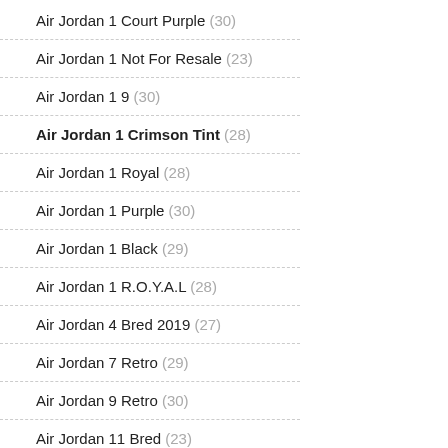Air Jordan 1 Court Purple (30)
Air Jordan 1 Not For Resale (23)
Air Jordan 1 9 (30)
Air Jordan 1 Crimson Tint (28)
Air Jordan 1 Royal (28)
Air Jordan 1 Purple (30)
Air Jordan 1 Black (29)
Air Jordan 1 R.O.Y.A.L (28)
Air Jordan 4 Bred 2019 (27)
Air Jordan 7 Retro (29)
Air Jordan 9 Retro (30)
Air Jordan 11 Bred (23)
Air Jordan 11 Low (29)
Air Jordan Bred 11 (25)
Air Jordan I For Sale (30)
Air Jordan On Sale (30)